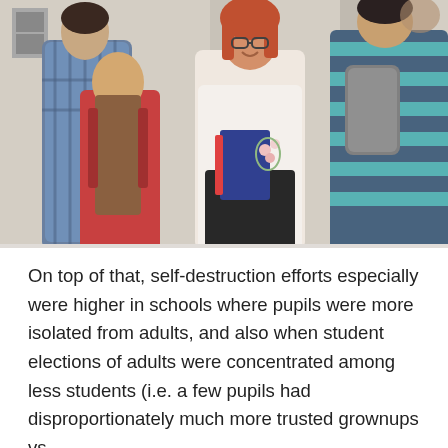[Figure (photo): A smiling female teacher with glasses and red hair holding books and flowers, greeting a group of students in a school hallway. Students have backpacks.]
On top of that, self-destruction efforts especially were higher in schools where pupils were more isolated from adults, and also when student elections of adults were concentrated among less students (i.e. a few pupils had disproportionately much more trusted grownups vs.